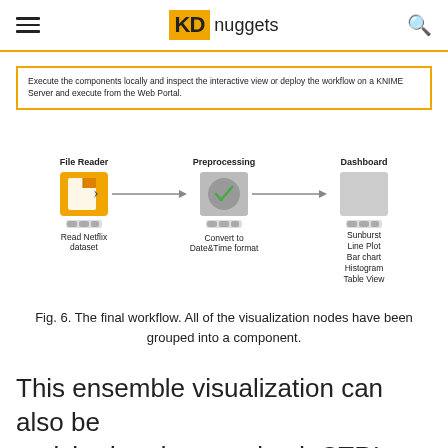KDnuggets
Execute the components locally and inspect the interactive view or deploy the workflow on a KNIME Server and execute from the Web Portal.
[Figure (flowchart): KNIME workflow diagram with three nodes: File Reader (orange icon, 'Read Netflix dataset'), Preprocessing (gray checkmark icon, 'Convert to Date&Time format'), and Dashboard (gray icon, 'Sunburst, Line Plot, Bar chart, Histogram, Table View') connected by arrows left to right.]
Fig. 6. The final workflow. All of the visualization nodes have been grouped into a component.
This ensemble visualization can also be enriched and customized. CTRL + double click